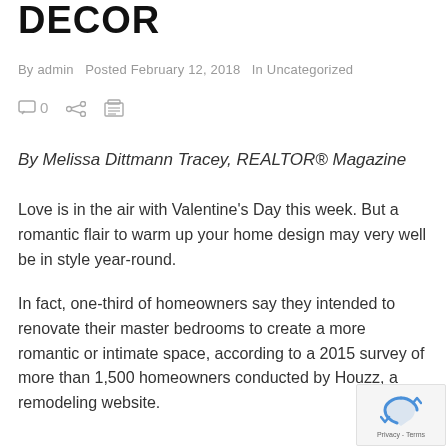DECOR
By admin  Posted February 12, 2018  In Uncategorized
By Melissa Dittmann Tracey, REALTOR® Magazine
Love is in the air with Valentine's Day this week. But a romantic flair to warm up your home design may very well be in style year-round.
In fact, one-third of homeowners say they intended to renovate their master bedrooms to create a more romantic or intimate space, according to a 2015 survey of more than 1,500 homeowners conducted by Houzz, a remodeling website.